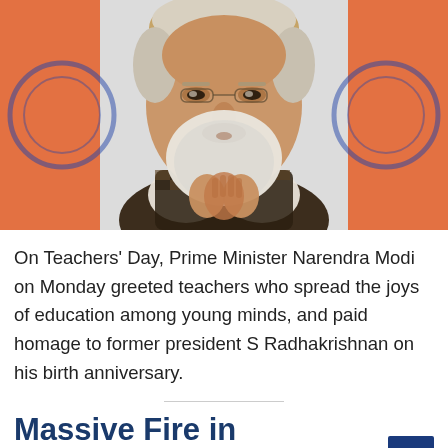[Figure (photo): Prime Minister Narendra Modi in namaste pose with hands pressed together, wearing a checkered vest over white shirt, with an orange and white Indian flag background (Ashoka chakra visible). He has white beard and gray hair.]
On Teachers' Day, Prime Minister Narendra Modi on Monday greeted teachers who spread the joys of education among young minds, and paid homage to former president S Radhakrishnan on his birth anniversary.
Massive Fire in Shopping